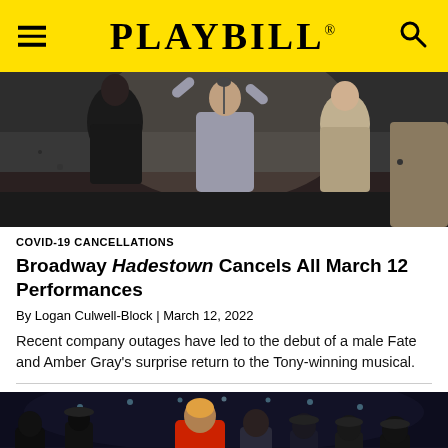PLAYBILL
[Figure (photo): Stage performance scene from Hadestown musical with performers on stage, one central figure in a grey suit with arms raised at a microphone]
COVID-19 CANCELLATIONS
Broadway Hadestown Cancels All March 12 Performances
By Logan Culwell-Block | March 12, 2022
Recent company outages have led to the debut of a male Fate and Amber Gray's surprise return to the Tony-winning musical.
[Figure (photo): Stage performance scene with multiple performers, one in a red jacket in the foreground, others in period costumes in a theatre setting]